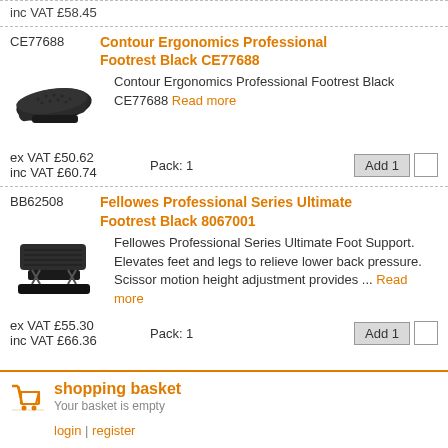inc VAT £58.45
CE77688
Contour Ergonomics Professional Footrest Black CE77688
[Figure (photo): Black contour ergonomics footrest product image]
Contour Ergonomics Professional Footrest Black CE77688 Read more
ex VAT £50.62  inc VAT £60.74  Pack: 1  Add 1
BB62508
Fellowes Professional Series Ultimate Footrest Black 8067001
[Figure (photo): Black Fellowes professional series footrest product image]
Fellowes Professional Series Ultimate Foot Support. Elevates feet and legs to relieve lower back pressure. Scissor motion height adjustment provides ... Read more
ex VAT £55.30  inc VAT £66.36  Pack: 1  Add 1
shopping basket
Your basket is empty
login | register